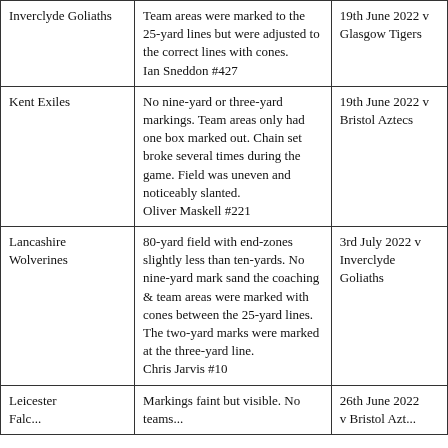| Inverclyde Goliaths | Team areas were marked to the 25-yard lines but were adjusted to the correct lines with cones.
Ian Sneddon #427 | 19th June 2022 v Glasgow Tigers |
| Kent Exiles | No nine-yard or three-yard markings. Team areas only had one box marked out. Chain set broke several times during the game. Field was uneven and noticeably slanted.
Oliver Maskell #221 | 19th June 2022 v Bristol Aztecs |
| Lancashire Wolverines | 80-yard field with end-zones slightly less than ten-yards. No nine-yard mark sand the coaching & team areas were marked with cones between the 25-yard lines. The two-yard marks were marked at the three-yard line.
Chris Jarvis #10 | 3rd July 2022 v Inverclyde Goliaths |
| Leicester... | Markings faint but visible. No teams... | 26th June 2022 v Bristol... |